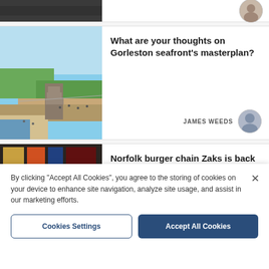[Figure (photo): Cropped top of article card with thumbnail (coastal/beach image cropped) and avatar circle at right]
[Figure (photo): Gorleston seafront aerial/elevated view showing promenade, beach, and stairs]
What are your thoughts on Gorleston seafront's masterplan?
JAMES WEEDS
[Figure (photo): Two men smiling in front of posters/framed artwork, Norfolk burger chain Zaks]
Norfolk burger chain Zaks is back in Great Yarmouth
By clicking "Accept All Cookies", you agree to the storing of cookies on your device to enhance site navigation, analyze site usage, and assist in our marketing efforts.
Cookies Settings
Accept All Cookies